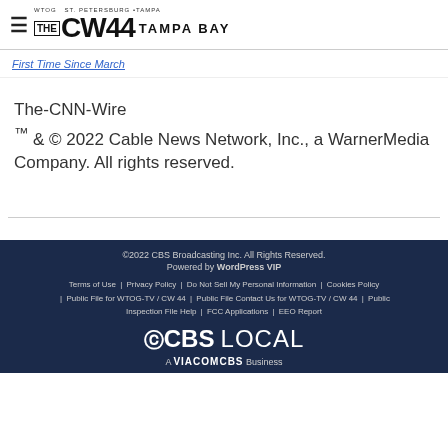WTOG ST. PETERSBURG TAMPA — THE CW44 TAMPA BAY
First Time Since March
The-CNN-Wire
™ & © 2022 Cable News Network, Inc., a WarnerMedia Company. All rights reserved.
©2022 CBS Broadcasting Inc. All Rights Reserved.
Powered by WordPress VIP
Terms of Use | Privacy Policy | Do Not Sell My Personal Information | Cookies Policy | Public File for WTOG-TV / CW 44 | Public File Contact Us for WTOG-TV / CW 44 | Public Inspection File Help | FCC Applications | EEO Report
CBS LOCAL
A VIACOMCBS Business